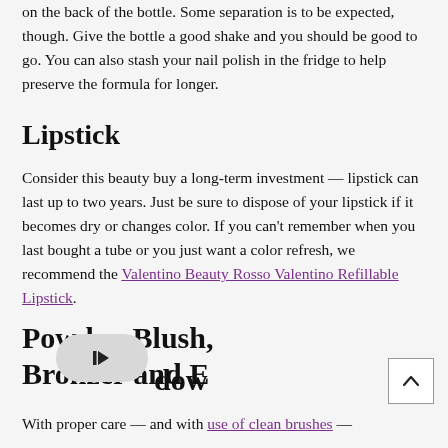on the back of the bottle. Some separation is to be expected, though. Give the bottle a good shake and you should be good to go. You can also stash your nail polish in the fridge to help preserve the formula for longer.
Lipstick
Consider this beauty buy a long-term investment — lipstick can last up to two years. Just be sure to dispose of your lipstick if it becomes dry or changes color. If you can't remember when you last bought a tube or you just want a color refresh, we recommend the Valentino Beauty Rosso Valentino Refillable Lipstick.
Powder, Blush, Bronzer and Eye Shadow
With proper care — and with use of clean brushes —